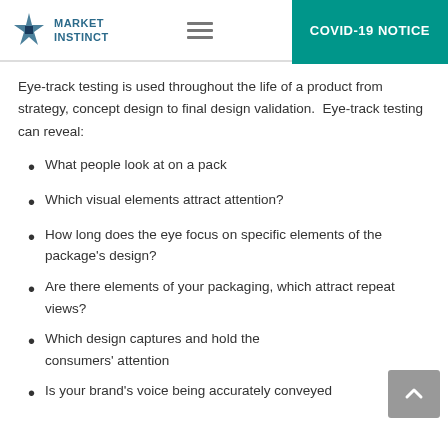MARKET INSTINCT | COVID-19 NOTICE
Eye-track testing is used throughout the life of a product from strategy, concept design to final design validation.  Eye-track testing can reveal:
What people look at on a pack
Which visual elements attract attention?
How long does the eye focus on specific elements of the package's design?
Are there elements of your packaging, which attract repeat views?
Which design captures and hold the consumers' attention
Is your brand's voice being accurately conveyed